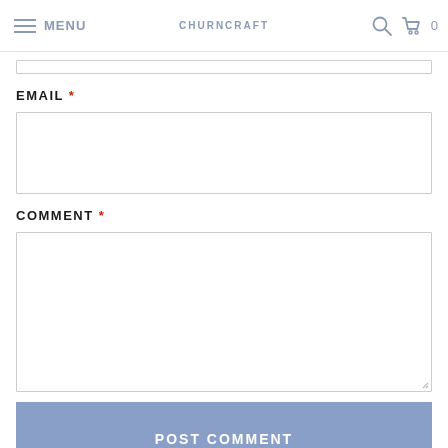MENU | CHURNCRAFT | 0
EMAIL *
[Figure (screenshot): Empty email input text field with border]
COMMENT *
[Figure (screenshot): Empty comment textarea with resize handle]
POST COMMENT
ALSO IN THE CHURNCRAFT JOURNAL
[Figure (photo): Partial image strip at bottom of page]